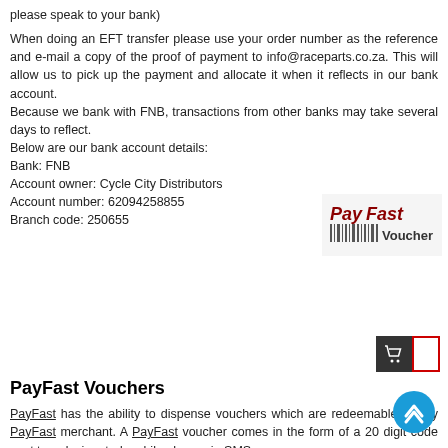please speak to your bank)
When doing an EFT transfer please use your order number as the reference and e-mail a copy of the proof of payment to info@raceparts.co.za. This will allow us to pick up the payment and allocate it when it reflects in our bank account.
Because we bank with FNB, transactions from other banks may take several days to reflect.
Below are our bank account details:
Bank: FNB
Account owner: Cycle City Distributors
Account number: 62094258855
Branch code: 250655
[Figure (logo): PayFast Voucher logo with barcode icon]
PayFast Vouchers
PayFast has the ability to dispense vouchers which are redeemable at any PayFast merchant. A PayFast voucher comes in the form of a 20 digit code sent to a designated mobile phone via SMS.
*Please note: No order will be processed until payment has